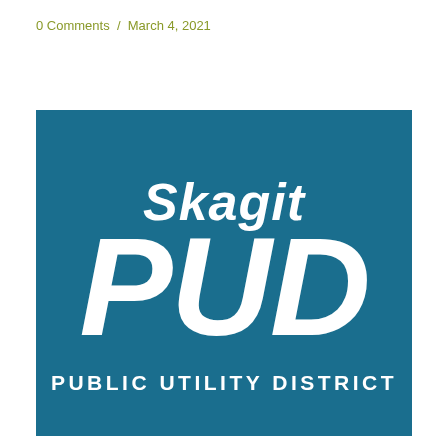0 Comments / March 4, 2021
[Figure (logo): Skagit PUD (Public Utility District) logo — white italic text 'Skagit' above large white italic bold 'PUD', with 'PUBLIC UTILITY DISTRICT' below, all on a teal/dark blue background square.]